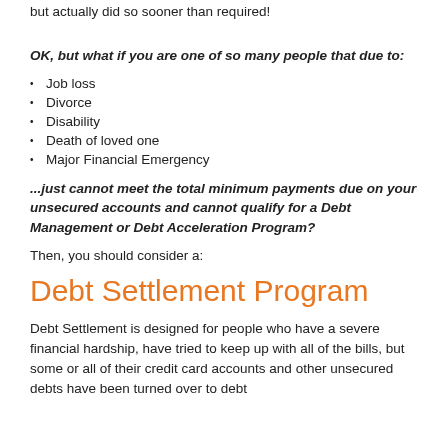but actually did so sooner than required!
OK, but what if you are one of so many people that due to:
Job loss
Divorce
Disability
Death of loved one
Major Financial Emergency
...just cannot meet the total minimum payments due on your unsecured accounts and cannot qualify for a Debt Management or Debt Acceleration Program?
Then, you should consider a:
Debt Settlement Program
Debt Settlement is designed for people who have a severe financial hardship, have tried to keep up with all of the bills, but some or all of their credit card accounts and other unsecured debts have been turned over to debt